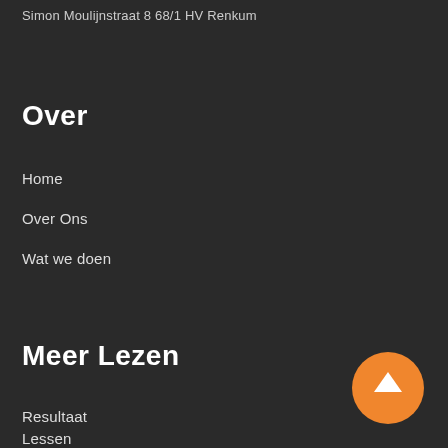Simon Moulijnstraat 8 68/1 HV Renkum
Over
Home
Over Ons
Wat we doen
Meer Lezen
Resultaat
Lessen
[Figure (other): Orange circular button with upward arrow icon (scroll to top / back to top button)]